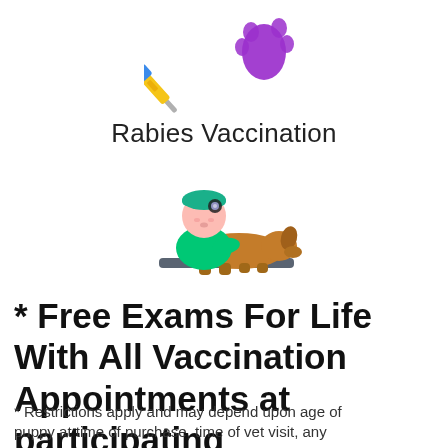[Figure (illustration): Colorful icon of a syringe/vaccine with a purple paw print, representing rabies vaccination]
Rabies Vaccination
[Figure (illustration): Colorful icon of a veterinarian in green scrubs examining a brown dog on a table]
* Free Exams For Life With All Vaccination Appointments at participating veterinarians.
* Restrictions apply and may depend upon age of puppy at time of purchase, time of vet visit, any